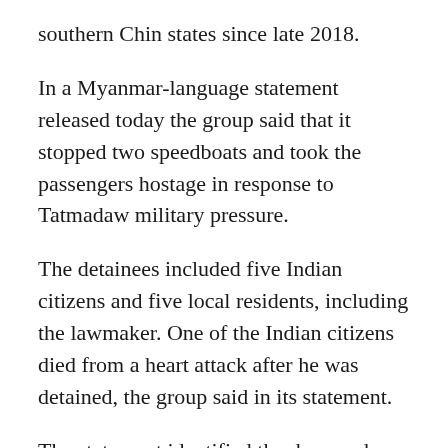southern Chin states since late 2018.
In a Myanmar-language statement released today the group said that it stopped two speedboats and took the passengers hostage in response to Tatmadaw military pressure.
The detainees included five Indian citizens and five local residents, including the lawmaker. One of the Indian citizens died from a heart attack after he was detained, the group said in its statement.
The statement identified the deceased as Mr Vindo Gopal, an employee of Indian company C&C Constructions, which is building a road connecting a river port at Paletwa to Zorinpui in India's Mizoram State. He died after suffering shortness of